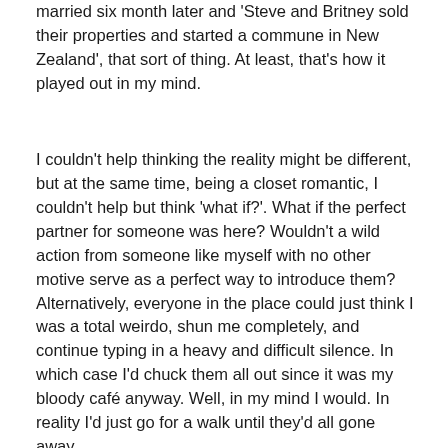married six month later and 'Steve and Britney sold their properties and started a commune in New Zealand', that sort of thing. At least, that's how it played out in my mind.
I couldn't help thinking the reality might be different, but at the same time, being a closet romantic, I couldn't help but think 'what if?'. What if the perfect partner for someone was here? Wouldn't a wild action from someone like myself with no other motive serve as a perfect way to introduce them? Alternatively, everyone in the place could just think I was a total weirdo, shun me completely, and continue typing in a heavy and difficult silence. In which case I'd chuck them all out since it was my bloody café anyway. Well, in my mind I would. In reality I'd just go for a walk until they'd all gone away.